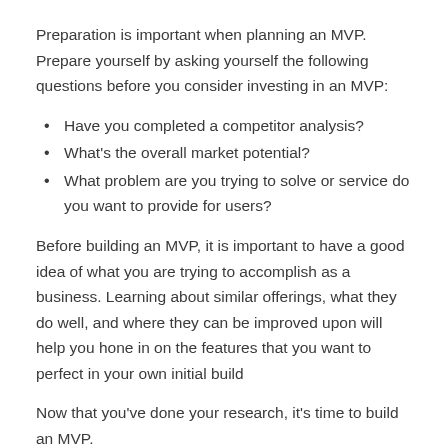Preparation is important when planning an MVP. Prepare yourself by asking yourself the following questions before you consider investing in an MVP:
Have you completed a competitor analysis?
What's the overall market potential?
What problem are you trying to solve or service do you want to provide for users?
Before building an MVP, it is important to have a good idea of what you are trying to accomplish as a business. Learning about similar offerings, what they do well, and where they can be improved upon will help you hone in on the features that you want to perfect in your own initial build
Now that you've done your research, it's time to build an MVP.